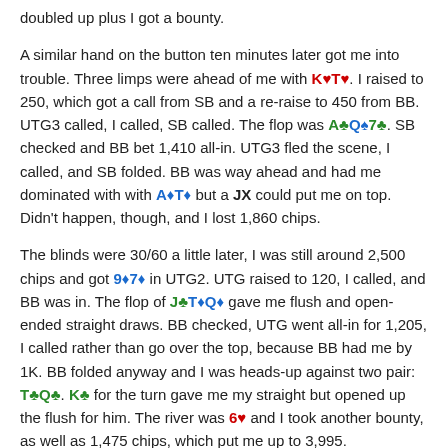doubled up plus I got a bounty.
A similar hand on the button ten minutes later got me into trouble. Three limps were ahead of me with K♥T♥. I raised to 250, which got a call from SB and a re-raise to 450 from BB. UTG3 called, I called, SB called. The flop was A♣Q♠7♣. SB checked and BB bet 1,410 all-in. UTG3 fled the scene, I called, and SB folded. BB was way ahead and had me dominated with with A♦T♦ but a JX could put me on top. Didn't happen, though, and I lost 1,860 chips.
The blinds were 30/60 a little later, I was still around 2,500 chips and got 9♦7♦ in UTG2. UTG raised to 120, I called, and BB was in. The flop of J♣T♦Q♦ gave me flush and open-ended straight draws. BB checked, UTG went all-in for 1,205, I called rather than go over the top, because BB had me by 1K. BB folded anyway and I was heads-up against two pair: T♣Q♣. K♣ for the turn gave me my straight but opened up the flush for him. The river was 6♥ and I took another bounty, as well as 1,475 chips, which put me up to 3,995.